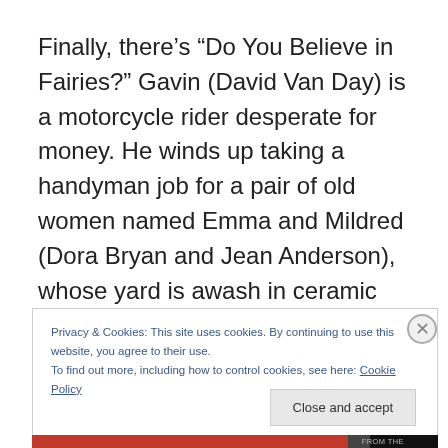Finally, there’s “Do You Believe in Fairies?” Gavin (David Van Day) is a motorcycle rider desperate for money. He winds up taking a handyman job for a pair of old women named Emma and Mildred (Dora Bryan and Jean Anderson), whose yard is awash in ceramic gnomes. As they interview him for the job, they ask an interesting question – if he believes in fairies. When he notices the
Privacy & Cookies: This site uses cookies. By continuing to use this website, you agree to their use.
To find out more, including how to control cookies, see here: Cookie Policy
Close and accept